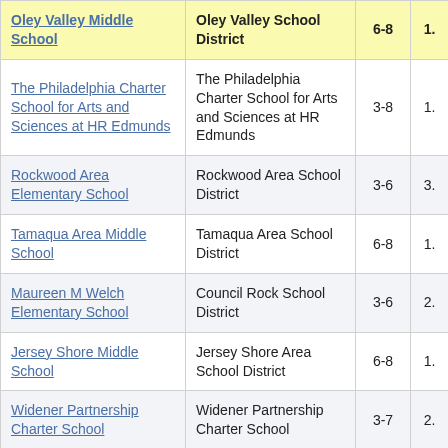| School | District | Grades | Value |
| --- | --- | --- | --- |
| Oley Valley Middle School | Oley Valley School District | 6-8 | 1. |
| The Philadelphia Charter School for Arts and Sciences at HR Edmunds | The Philadelphia Charter School for Arts and Sciences at HR Edmunds | 3-8 | 1. |
| Rockwood Area Elementary School | Rockwood Area School District | 3-6 | 3. |
| Tamaqua Area Middle School | Tamaqua Area School District | 6-8 | 1. |
| Maureen M Welch Elementary School | Council Rock School District | 3-6 | 2. |
| Jersey Shore Middle School | Jersey Shore Area School District | 6-8 | 1. |
| Widener Partnership Charter School | Widener Partnership Charter School | 3-7 | 2. |